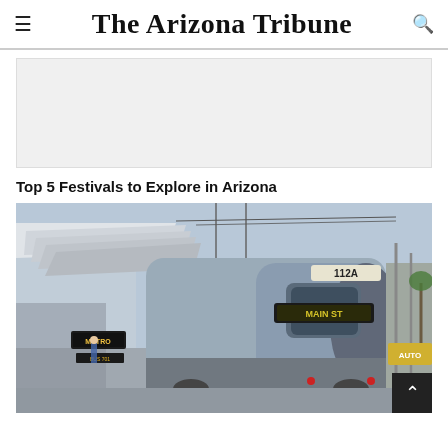The Arizona Tribune
[Figure (other): Advertisement placeholder — light gray rectangle]
Top 5 Festivals to Explore in Arizona
[Figure (photo): Light rail train (number 112A, destination MAIN ST) at a Metro station platform with overhead wires and canopy structure, street scene with palm trees and an AUTO sign in the background]